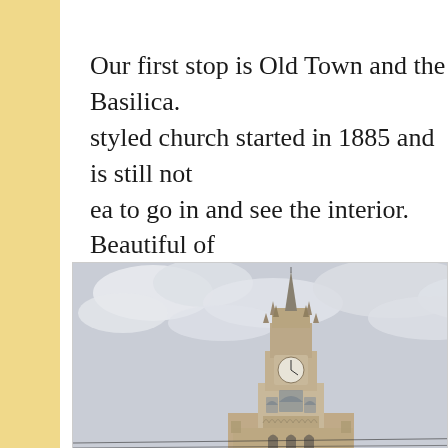Our first stop is Old Town and the Basilica. A Gothic styled church started in 1885 and is still not complete. A great idea to go in and see the interior. Beautiful ornate stained glassed windows. You can go up into the to...
[Figure (photo): Photograph of a Gothic-style church tower (the Basilica del Voto Nacional or similar) against a cloudy grey sky. The tower features ornate Gothic architecture with a pointed spire at top, a clock face, decorative pinnacles, and elaborate stone carvings.]